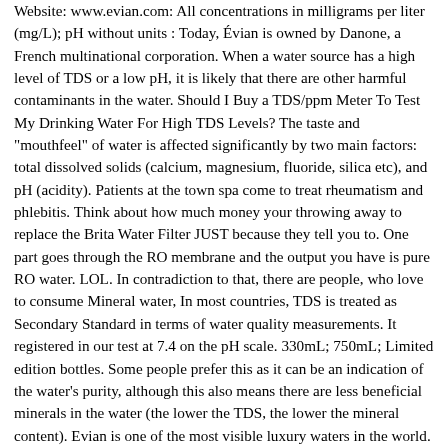Website: www.evian.com: All concentrations in milligrams per liter (mg/L); pH without units : Today, Évian is owned by Danone, a French multinational corporation. When a water source has a high level of TDS or a low pH, it is likely that there are other harmful contaminants in the water. Should I Buy a TDS/ppm Meter To Test My Drinking Water For High TDS Levels? The taste and "mouthfeel" of water is affected significantly by two main factors: total dissolved solids (calcium, magnesium, fluoride, silica etc), and pH (acidity). Patients at the town spa come to treat rheumatism and phlebitis. Think about how much money your throwing away to replace the Brita Water Filter JUST because they tell you to. One part goes through the RO membrane and the output you have is pure RO water. LOL. In contradiction to that, there are people, who love to consume Mineral water, In most countries, TDS is treated as Secondary Standard in terms of water quality measurements. It registered in our test at 7.4 on the pH scale. 330mL; 750mL; Limited edition bottles. Some people prefer this as it can be an indication of the water's purity, although this also means there are less beneficial minerals in the water (the lower the TDS, the lower the mineral content). Evian is one of the most visible luxury waters in the world. See, the TDS does what, it simply adds minerals to the water. Is TDS Level Good or Bad for the drinking water? Like the water from nearby Evian, Aix-les-Bains water (also sold as a facial spray) is said to flush out the kidneys. Before using the TDS meter, make sure that you should